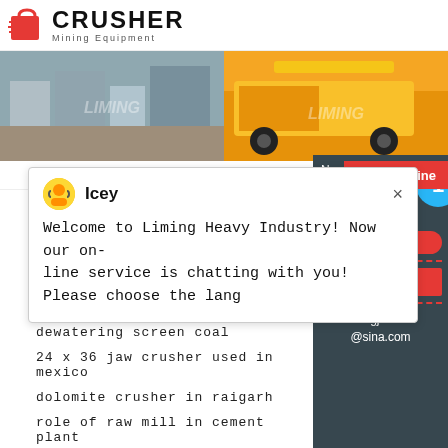[Figure (logo): Crusher Mining Equipment logo with red shopping bag icon and bold text CRUSHER, subtitle Mining Equipment]
[Figure (photo): Two side-by-side photos: left shows grey industrial equipment/machinery buildings, right shows yellow mining truck/equipment on a flatbed truck, both with LIMING watermark]
Cyclone
Ceram
24Hrs Online
[Figure (screenshot): Chat popup with avatar of Icey and message: Welcome to Liming Heavy Industry! Now our on-line service is chatting with you! Please choose the lang]
rotor di hammer crusher
dewatering screen coal
24 x 36 jaw crusher used in mexico
dolomite crusher in raigarh
role of raw mill in cement plant
crushing machines in rajkot
Need & sugg
1
Chat Now
Enquiry
limingjlmofen@sina.com